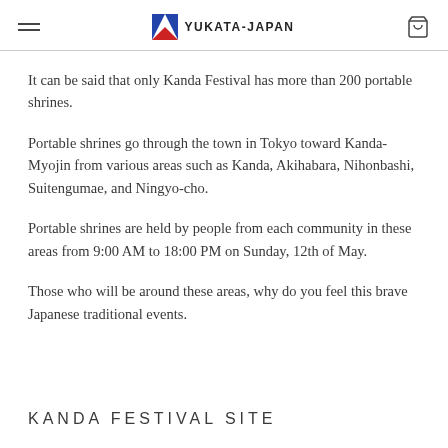YUKATA-JAPAN
It can be said that only Kanda Festival has more than 200 portable shrines.
Portable shrines go through the town in Tokyo toward Kanda-Myojin from various areas such as Kanda, Akihabara, Nihonbashi, Suitengumae, and Ningyo-cho.
Portable shrines are held by people from each community in these areas from 9:00 AM to 18:00 PM on Sunday, 12th of May.
Those who will be around these areas, why do you feel this brave Japanese traditional events.
KANDA FESTIVAL SITE